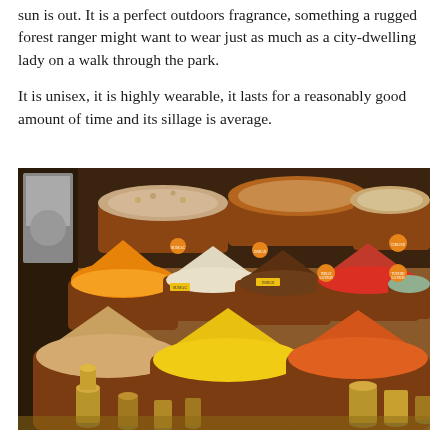sun is out. It is a perfect outdoors fragrance, something a rugged forest ranger might want to wear just as much as a city-dwelling lady on a walk through the park.
It is unisex, it is highly wearable, it lasts for a reasonably good amount of time and its sillage is average.
[Figure (photo): A spice market display with numerous terracotta bowls and pots filled with colorful spices including turmeric, saffron, sumac, and other spices. Small orange price tags label various spices. Brass pots and metal spice grinders are arranged in the foreground.]